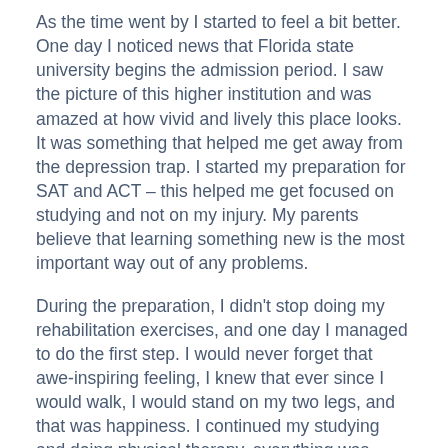As the time went by I started to feel a bit better. One day I noticed news that Florida state university begins the admission period. I saw the picture of this higher institution and was amazed at how vivid and lively this place looks. It was something that helped me get away from the depression trap. I started my preparation for SAT and ACT – this helped me get focused on studying and not on my injury. My parents believe that learning something new is the most important way out of any problems.
During the preparation, I didn't stop doing my rehabilitation exercises, and one day I managed to do the first step. I would never forget that awe-inspiring feeling, I knew that ever since I would walk, I would stand on my two legs, and that was happiness. I continued my studying and doing physical therapy, everything was going perfectly.
The situation with injury changed my attitude to life because I became more thankful and patient. I learned that sometimes our career development is not the most crucial thing in this life. Although I will never be able to dance in the competition, I am happy that I found a new interesting branch of science. Now I am ready to get immersed in the